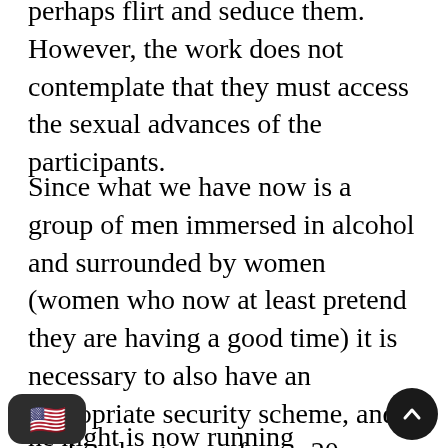perhaps flirt and seduce them. However, the work does not contemplate that they must access the sexual advances of the participants.
Since what we have now is a group of men immersed in alcohol and surrounded by women (women who now at least pretend they are having a good time) it is necessary to also have an appropriate security scheme, and we hired a group of, say, 20 “bouncers” that are ready to disrupt any troop sign.
he night is now running